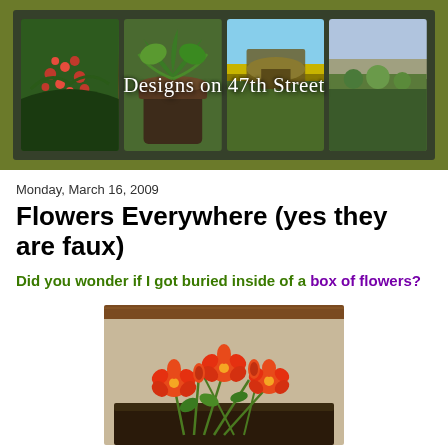[Figure (photo): Blog header banner showing 4 garden photos side by side with text 'Designs on 47th Street' overlaid]
Monday, March 16, 2009
Flowers Everywhere (yes they are faux)
Did you wonder if I got buried inside of a box of flowers?
[Figure (photo): Photo of red faux flowers arranged in front of a fireplace with wooden mantel]